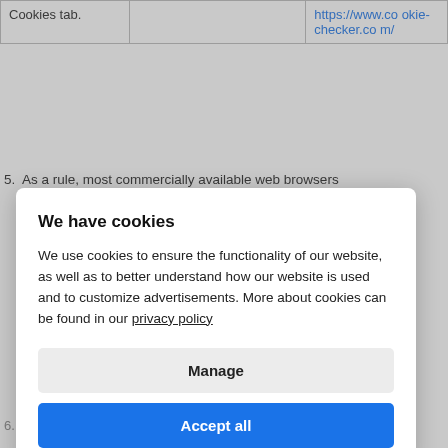|  |  |  |
| --- | --- | --- |
| Cookies tab. |  | https://www.cookie-checker.com/ |
5.  As a rule, most commercially available web browsers
[Figure (screenshot): Cookie consent dialog overlay reading 'We have cookies'. Contains text: 'We use cookies to ensure the functionality of our website, as well as to better understand how our website is used and to customize advertisements. More about cookies can be found in our privacy policy'. Two buttons: 'Manage' (gray) and 'Accept all' (blue).]
6.  The cookie settings of the web browser are crucial to